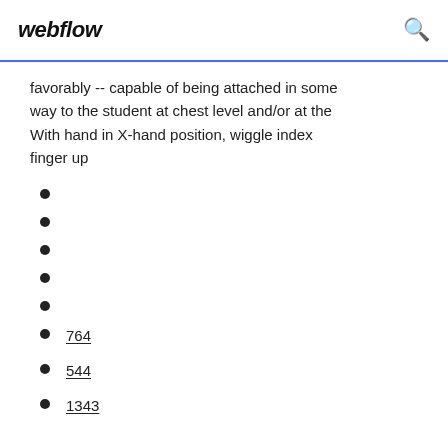webflow
favorably -- capable of being attached in some way to the student at chest level and/or at the With hand in X-hand position, wiggle index finger up
764
544
1343